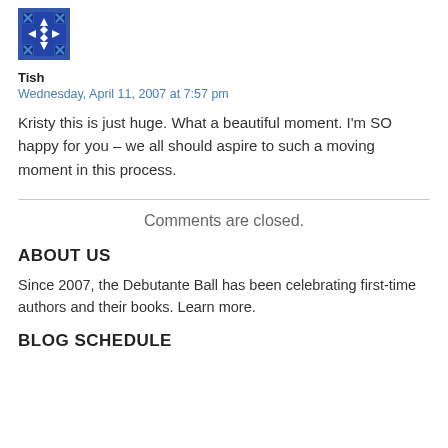[Figure (logo): Blue decorative avatar icon with geometric pattern]
Tish
Wednesday, April 11, 2007 at 7:57 pm
Kristy this is just huge. What a beautiful moment. I'm SO happy for you – we all should aspire to such a moving moment in this process.
Comments are closed.
ABOUT US
Since 2007, the Debutante Ball has been celebrating first-time authors and their books. Learn more.
BLOG SCHEDULE